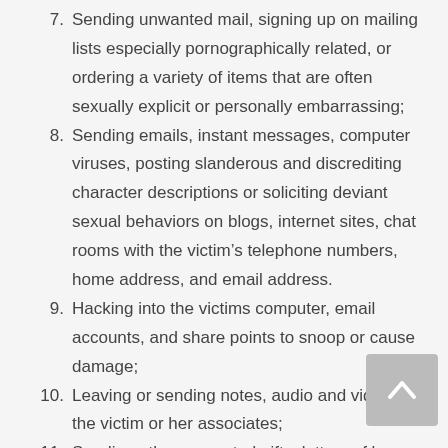7. Sending unwanted mail, signing up on mailing lists especially pornographically related, or ordering a variety of items that are often sexually explicit or personally embarrassing;
8. Sending emails, instant messages, computer viruses, posting slanderous and discrediting character descriptions or soliciting deviant sexual behaviors on blogs, internet sites, chat rooms with the victim’s telephone numbers, home address, and email address.
9. Hacking into the victims computer, email accounts, and share points to snoop or cause damage;
10. Leaving or sending notes, audio and video to the victim or her associates;
11. Sending other unwanted gifts, letters of love or